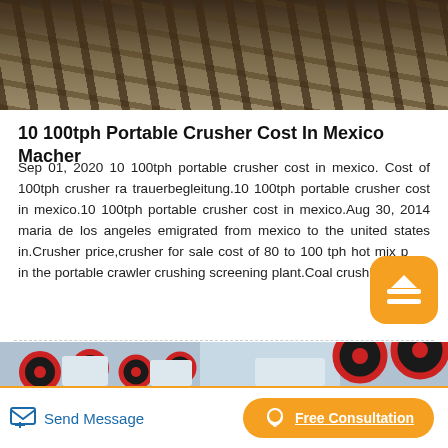[Figure (photo): Partial view of industrial wooden/metal structure, overhead beams, outdoor mining or construction site]
10 100tph Portable Crusher Cost In Mexico Macher
Sep 01, 2020 10 100tph portable crusher cost in mexico. Cost of 100tph crusher ra trauerbegleitung.10 100tph portable crusher cost in mexico.10 100tph portable crusher cost in mexico.Aug 30, 2014 maria de los angeles emigrated from mexico to the united states in.Crusher price,crusher for sale cost of 80 to 100 tph hot mix p… in the portable crawler crushing screening plant.Coal crushing…
[Figure (photo): Industrial crusher machinery with large red and black wheels/rollers inside a factory/warehouse]
Send Message
Free Consultation